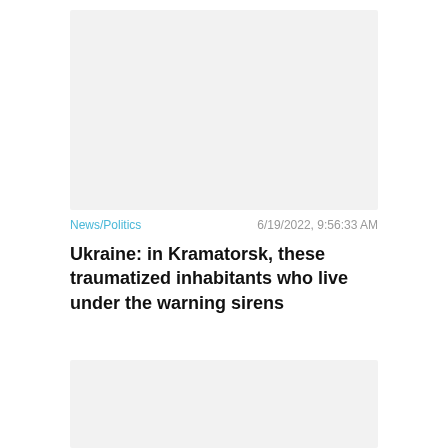[Figure (photo): Top image placeholder, light gray background]
News/Politics   6/19/2022, 9:56:33 AM
Ukraine: in Kramatorsk, these traumatized inhabitants who live under the warning sirens
[Figure (photo): Bottom image placeholder, light gray background]